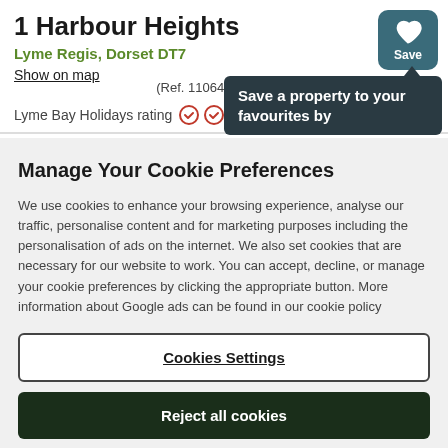1 Harbour Heights
Lyme Regis, Dorset DT7
Show on map
(Ref. 1106413)
Lyme Bay Holidays rating
Save a property to your favourites by
Manage Your Cookie Preferences
We use cookies to enhance your browsing experience, analyse our traffic, personalise content and for marketing purposes including the personalisation of ads on the internet. We also set cookies that are necessary for our website to work. You can accept, decline, or manage your cookie preferences by clicking the appropriate button. More information about Google ads can be found in our cookie policy
Cookies Settings
Reject all cookies